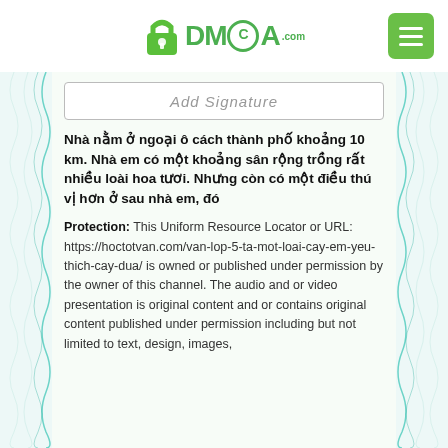[Figure (logo): DMCA.com logo with padlock icon and green menu button]
Add Signature
Nhà nằm ở ngoại ô cách thành phố khoảng 10 km. Nhà em có một khoảng sân rộng trồng rất nhiều loài hoa tươi. Nhưng còn có một điều thú vị hơn ở sau nhà em, đó
Protection: This Uniform Resource Locator or URL: https://hoctotvan.com/van-lop-5-ta-mot-loai-cay-em-yeu-thich-cay-dua/ is owned or published under permission by the owner of this channel. The audio and or video presentation is original content and or contains original content published under permission including but not limited to text, design, images,